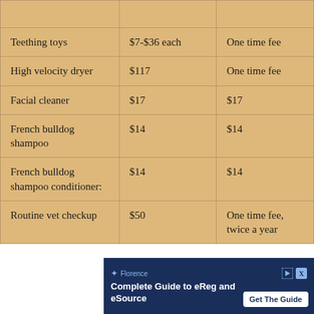| Item | Cost | Frequency |
| --- | --- | --- |
| Teething toys | $7-$36 each | One time fee |
| High velocity dryer | $117 | One time fee |
| Facial cleaner | $17 | $17 |
| French bulldog shampoo | $14 | $14 |
| French bulldog shampoo conditioner: | $14 | $14 |
| Routine vet checkup | $50 | One time fee, twice a year |